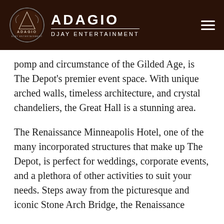[Figure (logo): Adagio Djay Entertainment logo: circular emblem with stylized A mark and text ADAGIO DJAY ENTERTAINMENT on dark brown background header bar]
pomp and circumstance of the Gilded Age, is The Depot's premier event space. With unique arched walls, timeless architecture, and crystal chandeliers, the Great Hall is a stunning area.
The Renaissance Minneapolis Hotel, one of the many incorporated structures that make up The Depot, is perfect for weddings, corporate events, and a plethora of other activities to suit your needs. Steps away from the picturesque and iconic Stone Arch Bridge, the Renaissance